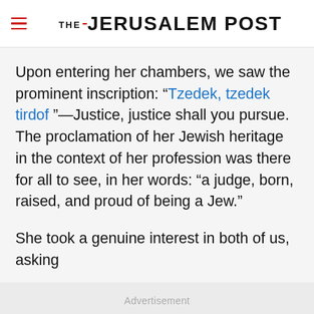THE JERUSALEM POST
Upon entering her chambers, we saw the prominent inscription: “Tzedek, tzedek tirdof ”—Justice, justice shall you pursue. The proclamation of her Jewish heritage in the context of her profession was there for all to see, in her words: “a judge, born, raised, and proud of being a Jew.”
She took a genuine interest in both of us, asking
Advertisement